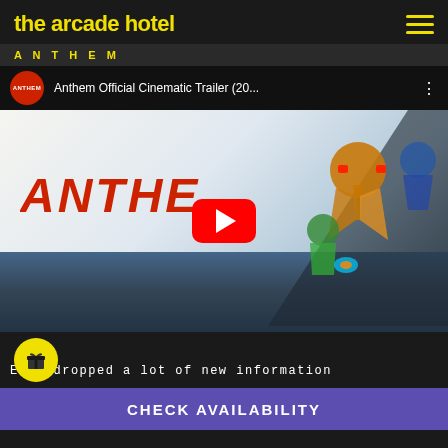the arcade hotel
ANTHEM
[Figure (screenshot): YouTube video embed showing Anthem Official Cinematic Trailer (20...) with channel icon, video title, three-dot menu, and a large red YouTube play button overlaid on the Anthem game artwork featuring armored mech characters and the Anthem game logo in red italic text]
EA dropped a lot of new information
CHECK AVAILABILITY